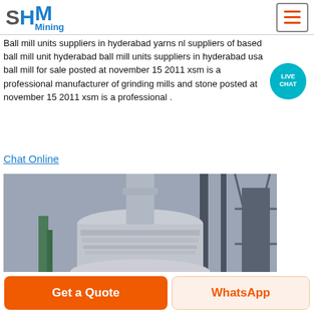SHM Mining
ball mill manufacturer in hyderabad
Ball mill units suppliers in hyderabad yarns nl suppliers of based ball mill unit hyderabad ball mill units suppliers in hyderabad usa ball mill for sale posted at november 15 2011 xsm is a professional manufacturer of grinding mills and stone posted at november 15 2011 xsm is a professional .
Chat Online
[Figure (photo): Industrial ball mill / vertical grinding mill machine in a factory setting, showing a large grey cylindrical machine with ribbed sections, surrounded by metal scaffolding and yellow safety railings.]
Ball Mill
RETSCH is the world leading manufacturer of laboratory ball mills and
Get a Quote
WhatsApp